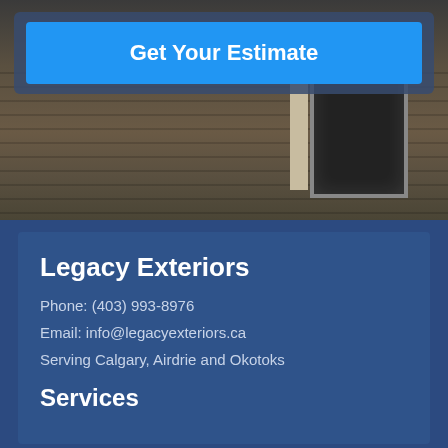[Figure (screenshot): A dark photo of a house exterior showing horizontal siding and a dark window with white trim on the right side]
Get Your Estimate
Legacy Exteriors
Phone: (403) 993-8976
Email: info@legacyexteriors.ca
Serving Calgary, Airdrie and Okotoks
Services